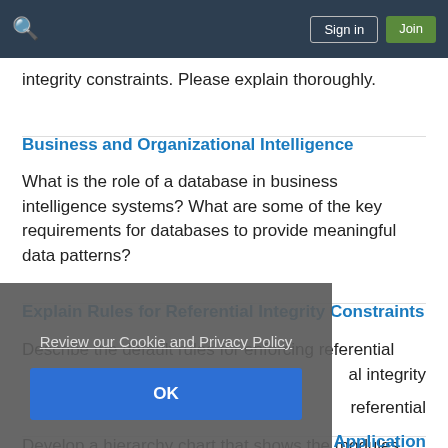Sign in | Join
integrity constraints. Please explain thoroughly.
Business and Organizational Intelligence
What is the role of a database in business intelligence systems? What are some of the key requirements for databases to provide meaningful data patterns?
Explain Rules for Referential Integrity Constraints
Describe the default rules for enforcing referential
al integrity
referential
Review our Cookie and Privacy Policy
OK
Application
Develop a hierarchy chart that shows the modules, the